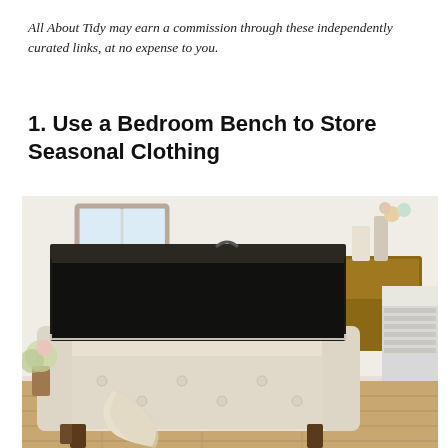All About Tidy may earn a commission through these independently curated links, at no expense to you.
1. Use a Bedroom Bench to Store Seasonal Clothing
[Figure (photo): A cream/beige upholstered storage bedroom bench with tufted sides and wooden legs, shown with its lid open revealing a dark interior storage compartment. A light blanket drapes over the front. The bench is positioned at the foot of a bed in a bright bedroom with a wooden nightstand and flowers in the background.]